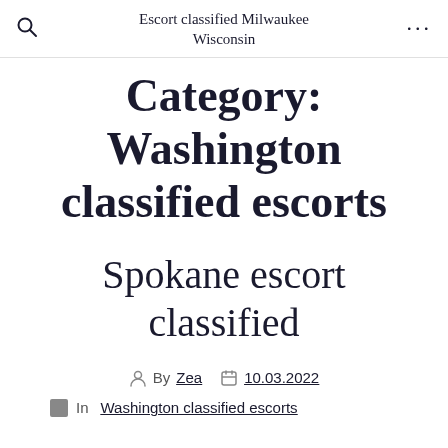Escort classified Milwaukee Wisconsin
Category: Washington classified escorts
Spokane escort classified
By Zea  10.03.2022
In Washington classified escorts